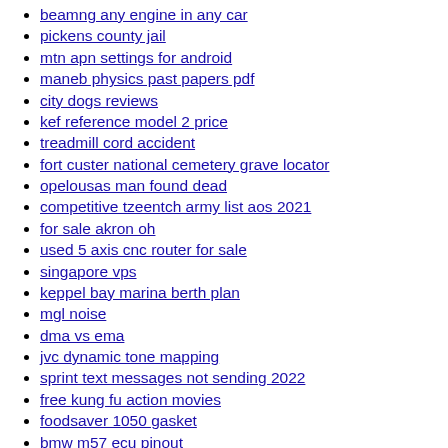beamng any engine in any car
pickens county jail
mtn apn settings for android
maneb physics past papers pdf
city dogs reviews
kef reference model 2 price
treadmill cord accident
fort custer national cemetery grave locator
opelousas man found dead
competitive tzeentch army list aos 2021
for sale akron oh
used 5 axis cnc router for sale
singapore vps
keppel bay marina berth plan
mgl noise
dma vs ema
jvc dynamic tone mapping
sprint text messages not sending 2022
free kung fu action movies
foodsaver 1050 gasket
bmw m57 ecu pinout
skyline corporation mobile homes
service cloud specialist superbadge challenge 2 solution
what are running gear faults
home and land for sale by owner